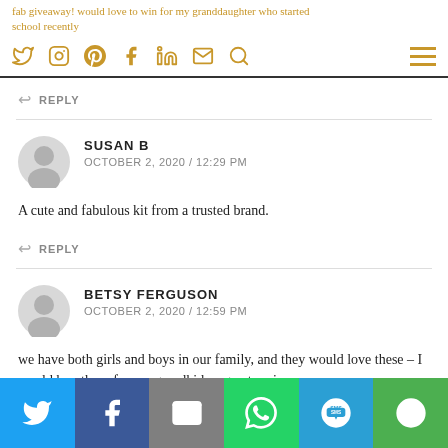fab giveaway! would love to win for my granddaughter who started school recently
↩ REPLY
SUSAN B
OCTOBER 2, 2020 / 12:29 PM
A cute and fabulous kit from a trusted brand.
↩ REPLY
BETSY FERGUSON
OCTOBER 2, 2020 / 12:59 PM
we have both girls and boys in our family, and they would love these – I would buy these for my grandkids – great review x
[Figure (infographic): Social share bar with Twitter, Facebook, Email, WhatsApp, SMS, and More buttons]